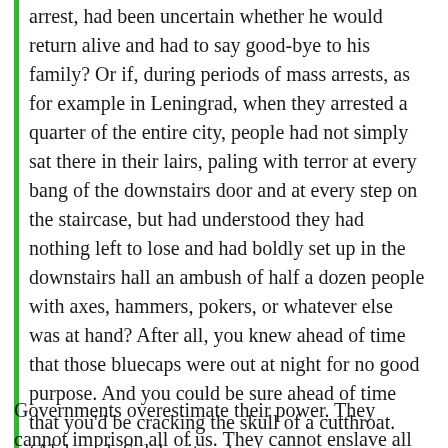arrest, had been uncertain whether he would return alive and had to say good-bye to his family? Or if, during periods of mass arrests, as for example in Leningrad, when they arrested a quarter of the entire city, people had not simply sat there in their lairs, paling with terror at every bang of the downstairs door and at every step on the staircase, but had understood they had nothing left to lose and had boldly set up in the downstairs hall an ambush of half a dozen people with axes, hammers, pokers, or whatever else was at hand? After all, you knew ahead of time that those bluecaps were out at night for no good purpose. And you could be sure ahead of time that you'd be cracking the skull of a cutthroat. (Aleksandr Solzhenitsyn)
Governments overestimate their power. They cannot imprison all of us. They cannot enslave all of us with